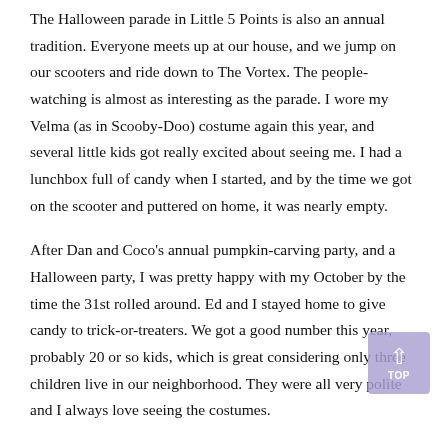The Halloween parade in Little 5 Points is also an annual tradition. Everyone meets up at our house, and we jump on our scooters and ride down to The Vortex. The people-watching is almost as interesting as the parade. I wore my Velma (as in Scooby-Doo) costume again this year, and several little kids got really excited about seeing me. I had a lunchbox full of candy when I started, and by the time we got on the scooter and puttered on home, it was nearly empty.
After Dan and Coco's annual pumpkin-carving party, and a Halloween party, I was pretty happy with my October by the time the 31st rolled around. Ed and I stayed home to give candy to trick-or-treaters. We got a good number this year, probably 20 or so kids, which is great considering only three children live in our neighborhood. They were all very polite and I always love seeing the costumes.